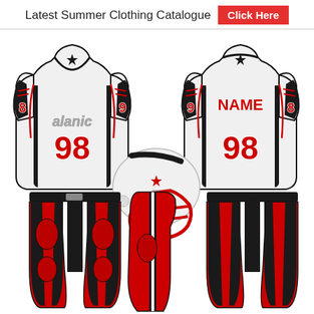Latest Summer Clothing Catalogue  Click Here
[Figure (illustration): American football uniform set showing front and back view of white jersey with red number 98 and side numbers 8 and 9, Alanic brand logo, a white football helmet with red facemask and star logo, red football pants shown from front, side and back angles, all with black accents.]